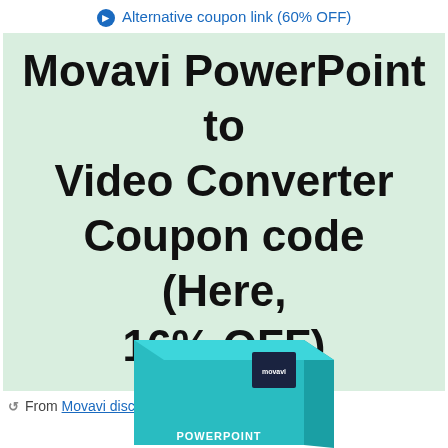● Alternative coupon link (60% OFF)
Movavi PowerPoint to Video Converter Coupon code (Here, 16% OFF)
↩ From Movavi discount code
[Figure (photo): Movavi PowerPoint to Video Converter software product box, teal/cyan colored with Movavi logo, partial view at bottom of page]